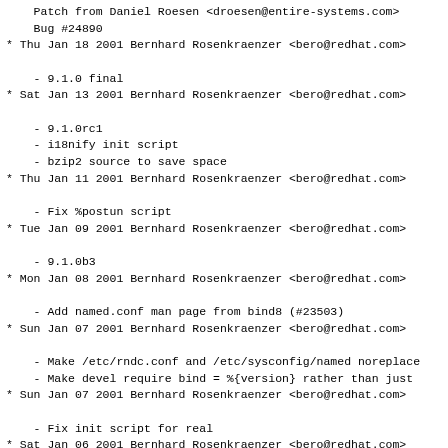Patch from Daniel Roesen <droesen@entire-systems.com>
  Bug #24890
* Thu Jan 18 2001 Bernhard Rosenkraenzer <bero@redhat.com>
  - 9.1.0 final
* Sat Jan 13 2001 Bernhard Rosenkraenzer <bero@redhat.com>
  - 9.1.0rc1
  - i18nify init script
  - bzip2 source to save space
* Thu Jan 11 2001 Bernhard Rosenkraenzer <bero@redhat.com>
  - Fix %postun script
* Tue Jan 09 2001 Bernhard Rosenkraenzer <bero@redhat.com>
  - 9.1.0b3
* Mon Jan 08 2001 Bernhard Rosenkraenzer <bero@redhat.com>
  - Add named.conf man page from bind8 (#23503)
* Sun Jan 07 2001 Bernhard Rosenkraenzer <bero@redhat.com>
  - Make /etc/rndc.conf and /etc/sysconfig/named noreplace
  - Make devel require bind = %{version} rather than just
* Sun Jan 07 2001 Bernhard Rosenkraenzer <bero@redhat.com>
  - Fix init script for real
* Sat Jan 06 2001 Bernhard Rosenkraenzer <bero@redhat.com>
  - Fix init script when ROOTDIR is not set
* Thu Jan 04 2001 Bernhard Rosenkraenzer <bero@redhat.com>
  - Add hooks for setting up named to run chroot (RFE #2...
  - Fix up requirements
* Fri Dec 29 2000 Bernhard Rosenkraenzer <bero@redhat.com>
  - 9.1.0b2
* Wed Dec 20 2000 Bernhard Rosenkraenzer <bero@redhat.com>
  - Move run files to /var/run/named/ - /var/run isn't w...
  by the user we're running as. (Bug #20665)
* Tue Dec 19 2000 Bernhard Rosenkraenzer <bero@redhat.com>